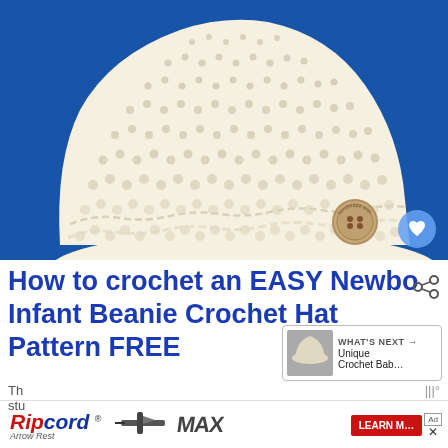[Figure (photo): A cream/ivory colored crocheted newborn beanie hat with a small wooden button on the lower right side, displayed against a bright blue background. A blue heart/like button is visible in the bottom right corner of the image.]
How to crochet an EASY Newbo Infant Beanie Crochet Hat Pattern FREE
[Figure (infographic): WHAT'S NEXT arrow label with thumbnail image of a crochet baby hat and text 'Unique Crochet Bab...']
[Figure (screenshot): Advertisement banner for Ripcord Arrow Rest MAX product with 'LEARN MORE' button and a close/X button]
Th stu